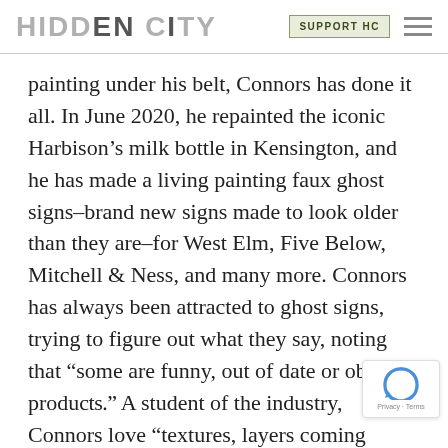HIDDEN CITY | SUPPORT HC
painting under his belt, Connors has done it all. In June 2020, he repainted the iconic Harbison’s milk bottle in Kensington, and he has made a living painting faux ghost signs–brand new signs made to look older than they are–for West Elm, Five Below, Mitchell & Ness, and many more. Connors has always been attracted to ghost signs, trying to figure out what they say, noting that “some are funny, out of date or obsolete products.” A student of the industry, Connors love… “textures, layers coming through, the palette